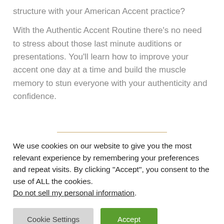structure with your American Accent practice?
With the Authentic Accent Routine there’s no need to stress about those last minute auditions or presentations. You’ll learn how to improve your accent one day at a time and build the muscle memory to stun everyone with your authenticity and confidence.
We use cookies on our website to give you the most relevant experience by remembering your preferences and repeat visits. By clicking “Accept”, you consent to the use of ALL the cookies. Do not sell my personal information.
Cookie Settings
Accept